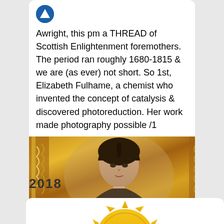Awright, this pm a THREAD of Scottish Enlightenment foremothers. The period ran roughly 1680-1815 & we are (as ever) not short. So 1st, Elizabeth Fulhame, a chemist who invented the concept of catalysis & discovered photoreduction. Her work made photography possible /1
[Figure (photo): Vintage portrait photograph of a young woman with dark hair, set in an ornate golden decorative frame with floral/scrollwork border]
2018
[Figure (illustration): Partial view of a golden sun badge/seal with radiating pointed rays, shown cropped at bottom of page]